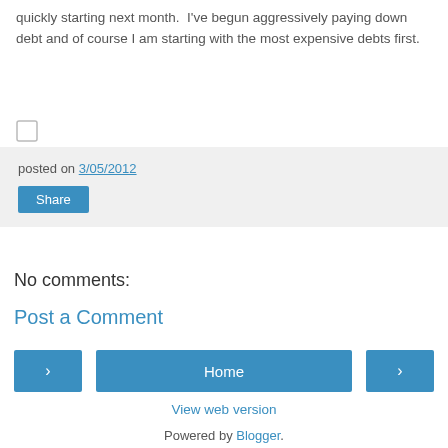quickly starting next month.  I've begun aggressively paying down debt and of course I am starting with the most expensive debts first.
[Figure (other): Small checkbox UI element]
posted on 3/05/2012
Share
No comments:
Post a Comment
< Home >
View web version
Powered by Blogger.